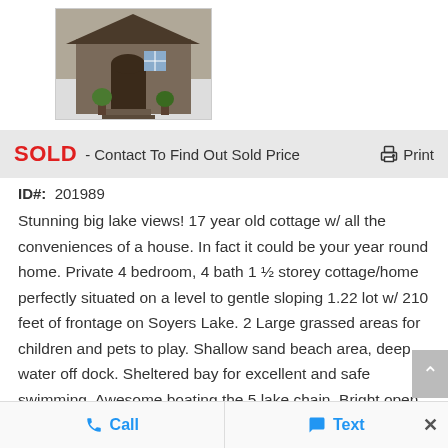[Figure (photo): Exterior photo of a cottage/house with wooden door and plants]
SOLD - Contact To Find Out Sold Price
ID#: 201989
Stunning big lake views! 17 year old cottage w/ all the conveniences of a house. In fact it could be your year round home. Private 4 bedroom, 4 bath 1 ½ storey cottage/home perfectly situated on a level to gentle sloping 1.22 lot w/ 210 feet of frontage on Soyers Lake. 2 Large grassed areas for children and pets to play. Shallow sand beach area, deep water off dock. Sheltered bay for excellent and safe swimming. Awesome boating the 5 lake chain. Bright open concept kitchen dining room w/ walk
Call   Text